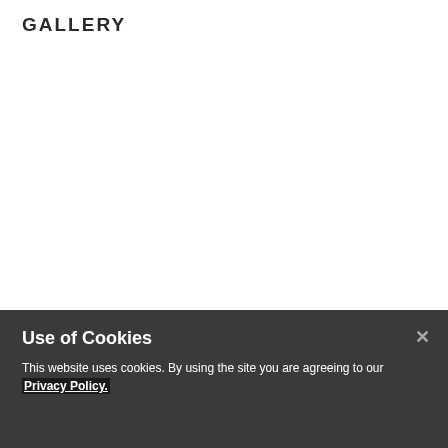GALLERY
Use of Cookies
This website uses cookies. By using the site you are agreeing to our Privacy Policy.